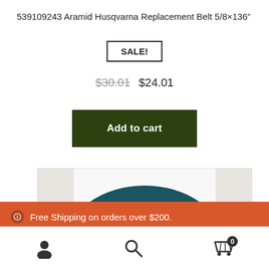539109243 Aramid Husqvarna Replacement Belt 5/8×136"
SALE!
$30.01  $24.01
Add to cart
[Figure (photo): Product photo of a dark teal/green replacement belt, showing the curved top portion of the belt against a light background]
Free Shipping on orders over $200.
Dismiss
[Figure (infographic): Bottom navigation bar with user account icon, search icon, and shopping cart icon with badge showing 0]